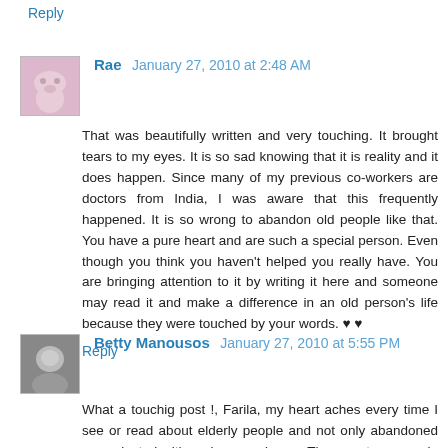Reply
Rae  January 27, 2010 at 2:48 AM
That was beautifully written and very touching. It brought tears to my eyes. It is so sad knowing that it is reality and it does happen. Since many of my previous co-workers are doctors from India, I was aware that this frequently happened. It is so wrong to abandon old people like that. You have a pure heart and are such a special person. Even though you think you haven’t helped you really have. You are bringing attention to it by writing it here and someone may read it and make a difference in an old person’s life because they were touched by your words. ♥ ♥
Reply
Betty Manousos  January 27, 2010 at 5:55 PM
What a touchig post !, Farila, my heart aches every time I see or read about elderly people and not only abandoned or neglected with no hope and care. They are too many in the world. How sad that makes me feel.